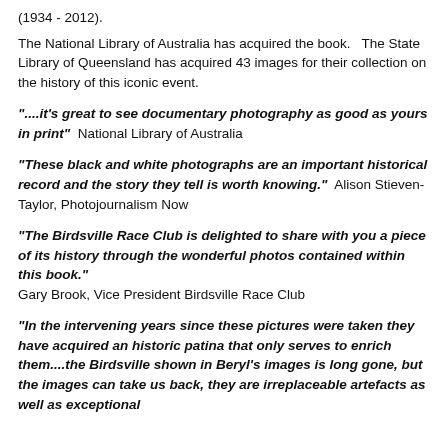(1934 - 2012).
The National Library of Australia has acquired the book.   The State Library of Queensland has acquired 43 images for their collection on the history of this iconic event.
"....it's great to see documentary photography as good as yours in print"  National Library of Australia
"These black and white photographs are an important historical record and the story they tell is worth knowing."  Alison Stieven-Taylor, Photojournalism Now
"The Birdsville Race Club is delighted to share with you a piece of its history through the wonderful photos contained within this book." Gary Brook, Vice President Birdsville Race Club
"In the intervening years since these pictures were taken they have acquired an historic patina that only serves to enrich them....the Birdsville shown in Beryl's images is long gone, but the images can take us back, they are irreplaceable artefacts as well as exceptional